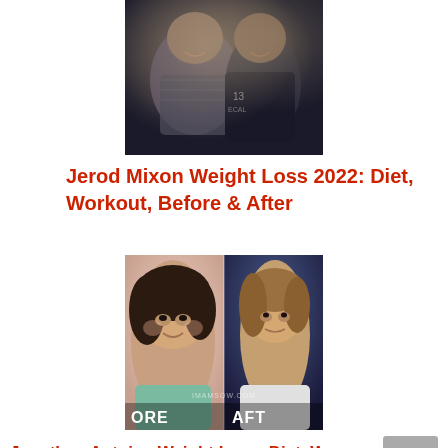[Figure (photo): Two people posing together in a dark setting, both smiling. One wearing a patterned jacket, the other in a dark jacket with a logo.]
Jerod Mixon Weight Loss 2022: Diet, Workout, Before & After
[Figure (photo): Before and after comparison photo of a person's weight loss transformation. Left side labeled 'BEFORE' shows a heavier person, right side labeled 'AFTER' shows the same person after weight loss. Watermark reads imamsow.com.]
Jonathan Antoine Weight Loss: Diet, Workout,